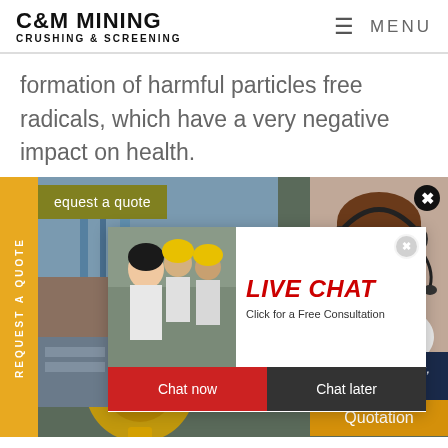C&M MINING CRUSHING & SCREENING | MENU
formation of harmful particles free radicals, which have a very negative impact on health.
[Figure (screenshot): Mining/industrial website screenshot showing: yellow 'Request a Quote' side tab, request a quote button, live chat popup with worker photo, 'LIVE CHAT - Click for a Free Consultation', Chat now and Chat later buttons, mining machinery background image, headset customer service lady, 'Have any requests, click here.' box, and Quotation button.]